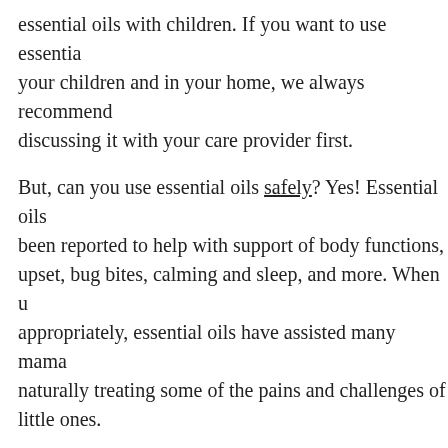essential oils with children. If you want to use essential oils with your children and in your home, we always recommend discussing it with your care provider first.
But, can you use essential oils safely? Yes! Essential oils have been reported to help with support of body functions, upset, bug bites, calming and sleep, and more. When used appropriately, essential oils have assisted many mamas in naturally treating some of the pains and challenges of their little ones.
Using Essential Oils Appropriately
There are a few rules that are always recommended when using oils with children.
Buy from a trusted source: Labels should include the name, the Latin name, the part of the plant used, country…